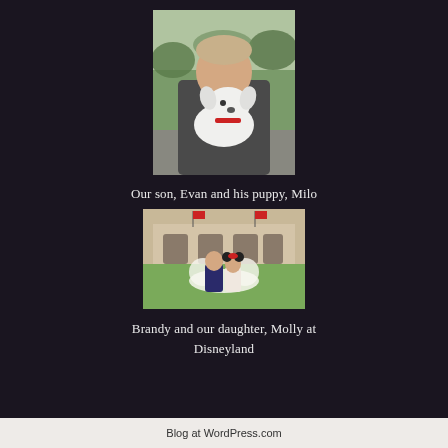[Figure (photo): A young man holding a small white puppy with a red collar, outdoors with trees in background]
Our son, Evan and his puppy, Milo
[Figure (photo): Two people (Brandy and Molly) standing in front of a Disneyland entrance with a Mickey Mouse floral display on the lawn]
Brandy and our daughter, Molly at Disneyland
Blog at WordPress.com